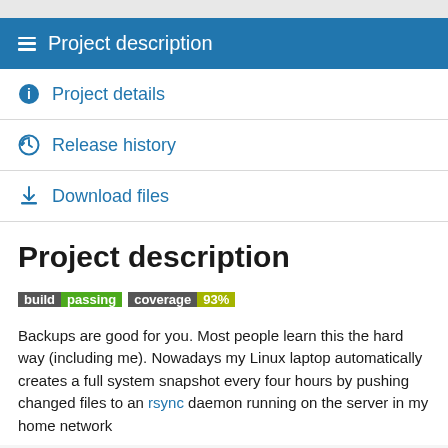Project description
Project details
Release history
Download files
Project description
[Figure (infographic): Two status badges: 'build passing' in dark-grey/green, and 'coverage 93%' in dark-grey/yellow-green]
Backups are good for you. Most people learn this the hard way (including me). Nowadays my Linux laptop automatically creates a full system snapshot every four hours by pushing changed files to an rsync daemon running on the server in my home network